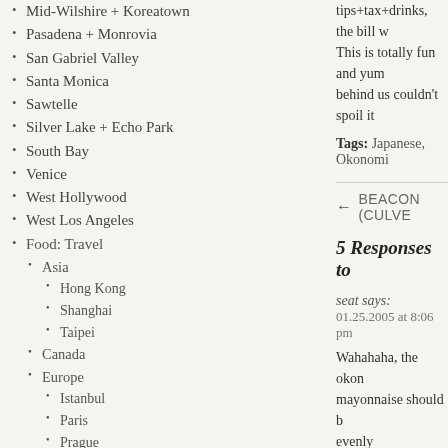Mid-Wilshire + Koreatown
Pasadena + Monrovia
San Gabriel Valley
Santa Monica
Sawtelle
Silver Lake + Echo Park
South Bay
Venice
West Hollywood
West Los Angeles
Food: Travel
Asia
Hong Kong
Shanghai
Taipei
Canada
Europe
Istanbul
Paris
Prague
Vienna
Mexico
US
Chicago
New York City
tips+tax+drinks, the bill w... This is totally fun and yum... behind us couldn't spoil it...
Tags: Japanese, Okonomi...
← BEACON (CULVE...
5 Responses to...
seat says:
01.25.2005 at 8:06 pm
Wahahaha, the okon... mayonnaise should b... evenly distributed…^
The restaurant shoul... with drawings to expl...
Oh I like okonomiyak...